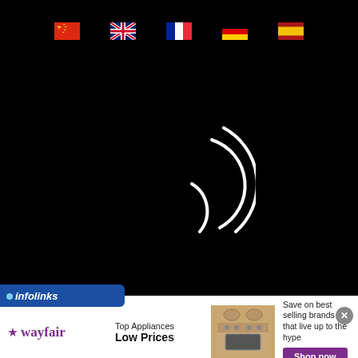[Figure (screenshot): Black loading screen with flag icons (China, UK, France, Germany, Spain) at top and a white loading spinner arc in the center]
[Figure (logo): Infolinks logo bar in blue]
[Figure (infographic): Wayfair advertisement banner: Top Appliances Low Prices, with stove image and Shop now button]